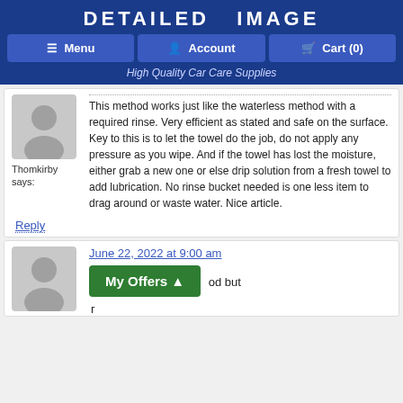DETAILED IMAGE
Menu | Account | Cart (0)
High Quality Car Care Supplies
This method works just like the waterless method with a required rinse. Very efficient as stated and safe on the surface. Key to this is to let the towel do the job, do not apply any pressure as you wipe. And if the towel has lost the moisture, either grab a new one or else drip solution from a fresh towel to add lubrication. No rinse bucket needed is one less item to drag around or waste water. Nice article.
Thomkirby says:
Reply
June 22, 2022 at 9:00 am
od but r
My Offers